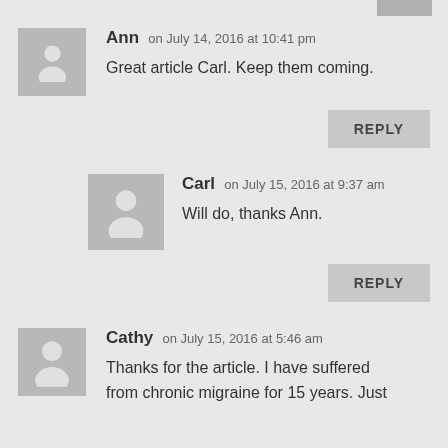Ann on July 14, 2016 at 10:41 pm
Great article Carl. Keep them coming.
REPLY
Carl on July 15, 2016 at 9:37 am
Will do, thanks Ann.
REPLY
Cathy on July 15, 2016 at 5:46 am
Thanks for the article. I have suffered from chronic migraine for 15 years. Just